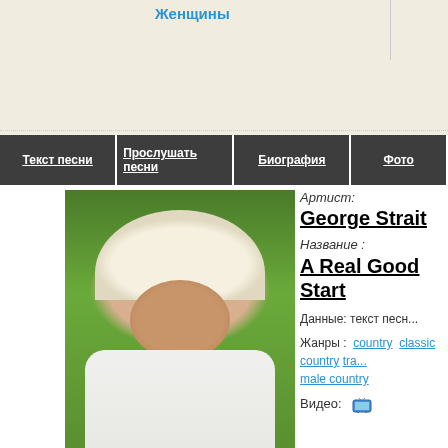Женщины
Текст песни | Прослушать песни | Биография | Фото
[Figure (photo): Photo of George Strait wearing a white cowboy hat and white shirt, smiling, with green foliage background]
Артист: George Strait
Название : A Real Good Start
Данные: текст песни
Жанры : country  classic country  tra...  male country
Видео: